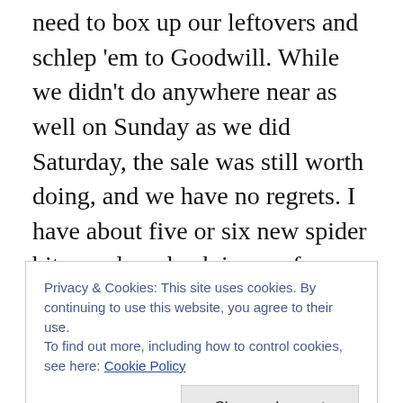need to box up our leftovers and schlep 'em to Goodwill. While we didn't do anywhere near as well on Sunday as we did Saturday, the sale was still worth doing, and we have no regrets. I have about five or six new spider bites and my back is sore from lugging stuff in and out of the garage, but all in all it was a decent experience and we met some really nice people in the bargain.
Still, I'm glad Will took down the signs he posted all over the neighborhood. I didn't put dates on them, just directions and times, and the last thing either of us want is
Privacy & Cookies: This site uses cookies. By continuing to use this website, you agree to their use. To find out more, including how to control cookies, see here: Cookie Policy
stay strong in our everyday lives.